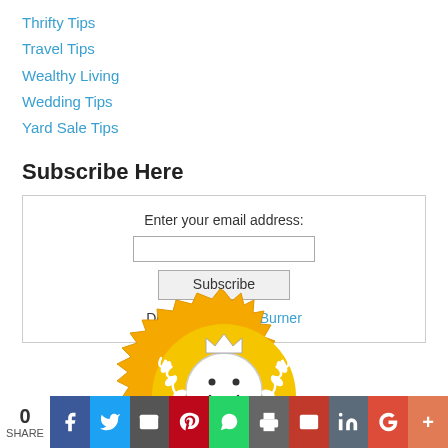Thrifty Tips
Travel Tips
Wealthy Living
Wedding Tips
Yard Sale Tips
Subscribe Here
Enter your email address: [input] Subscribe Delivered by FeedBurner
[Figure (illustration): Golden award badge with smiling face and laurel wreath, crown on top]
0 SHARE [social share bar: Facebook, Twitter, Email, Pinterest, WhatsApp, Print, Gmail, LinkedIn, Google+, More]